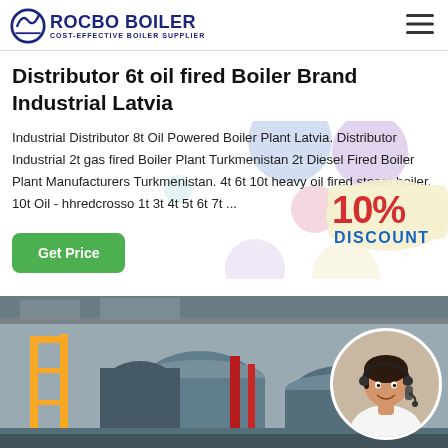ROCBO BOILER — COST-EFFECTIVE BOILER SUPPLIER
Distributor 6t oil fired Boiler Brand Industrial Latvia
Industrial Distributor 8t Oil Powered Boiler Plant Latvia. Distributor Industrial 2t gas fired Boiler Plant Turkmenistan 2t Diesel Fired Boiler Plant Manufacturers Turkmenistan. 4t 6t 10t heavy oil fired steam boiler. 10t Oil - hhredcrosso 1t 3t 4t 5t 6t 7t ...
[Figure (other): 10% DISCOUNT promotional badge overlaid on the page]
[Figure (photo): Industrial boiler plant interior with yellow railings and large cylindrical tanks, with a customer service agent (woman with headset) in a circular overlay on the right]
Get Price